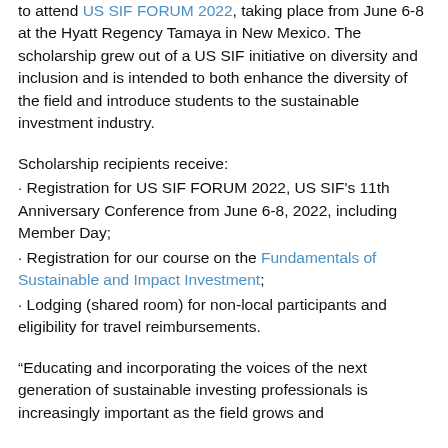to attend US SIF FORUM 2022, taking place from June 6-8 at the Hyatt Regency Tamaya in New Mexico. The scholarship grew out of a US SIF initiative on diversity and inclusion and is intended to both enhance the diversity of the field and introduce students to the sustainable investment industry.
Scholarship recipients receive:
Registration for US SIF FORUM 2022, US SIF's 11th Anniversary Conference from June 6-8, 2022, including Member Day;
Registration for our course on the Fundamentals of Sustainable and Impact Investment;
Lodging (shared room) for non-local participants and eligibility for travel reimbursements.
“Educating and incorporating the voices of the next generation of sustainable investing professionals is increasingly important as the field grows and